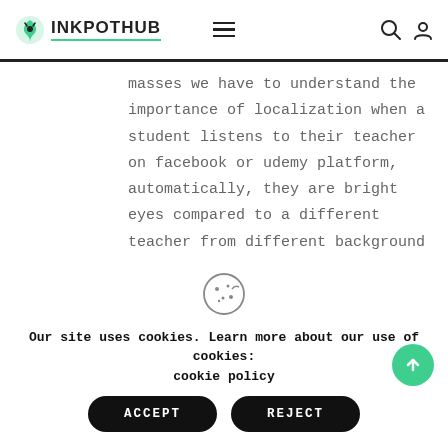INKPOTHUB
masses we have to understand the importance of localization when a student listens to their teacher on facebook or udemy platform, automatically, they are bright eyes compared to a different teacher from different background different culture. According to my opinion, it is important to connect to the audience.
Our site uses cookies. Learn more about our use of cookies: cookie policy
ACCEPT
REJECT